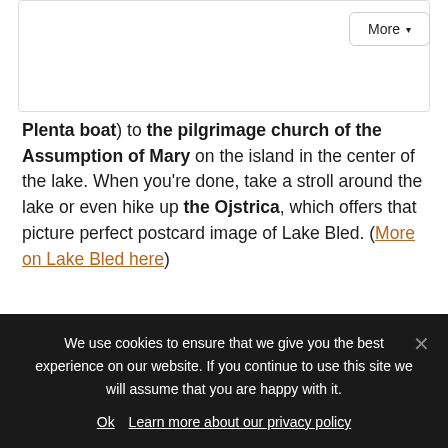Plenta boat) to the pilgrimage church of the Assumption of Mary on the island in the center of the lake. When you're done, take a stroll around the lake or even hike up the Ojstrica, which offers that picture perfect postcard image of Lake Bled. (More on Lake Bled here)
[Figure (other): Social media follow modal popup with title 'Follow me on:' and icons for Facebook, Instagram, Pinterest, Twitter, Bloglovin, RSS, and partial newsletter sign-up text]
We use cookies to ensure that we give you the best experience on our website. If you continue to use this site we will assume that you are happy with it.
Ok   Learn more about our privacy policy